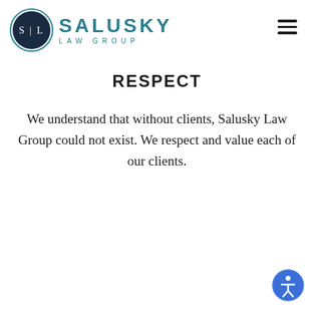[Figure (logo): Salusky Law Group logo: dark navy circle with 'S | L' in white, next to teal text 'SALUSKY' large and 'LAW GROUP' spaced below]
[Figure (other): Hamburger menu icon (three horizontal black lines) in top right corner]
RESPECT
We understand that without clients, Salusky Law Group could not exist. We respect and value each of our clients.
[Figure (other): Accessibility icon: blue circle with white person/wheelchair symbol in bottom right corner]